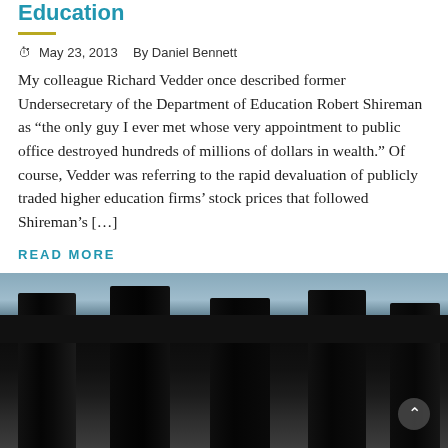Education
May 23, 2013   By Daniel Bennett
My colleague Richard Vedder once described former Undersecretary of the Department of Education Robert Shireman as “the only guy I ever met whose very appointment to public office destroyed hundreds of millions of dollars in wealth.” Of course, Vedder was referring to the rapid devaluation of publicly traded higher education firms’ stock prices that followed Shireman’s […]
READ MORE
[Figure (photo): Low-angle view of classical stone columns against a sky, silhouetted in dark tones]